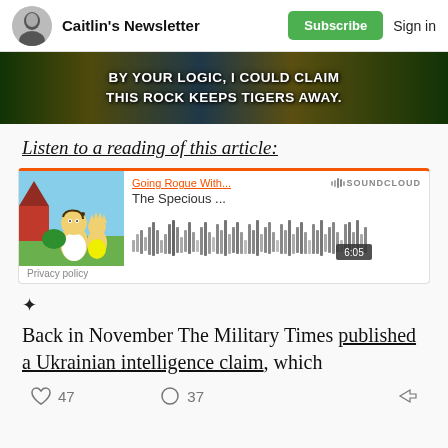Caitlin's Newsletter | Subscribe | Sign in
[Figure (screenshot): Simpsons screenshot with subtitle text: BY YOUR LOGIC, I COULD CLAIM THIS ROCK KEEPS TIGERS AWAY.]
Listen to a reading of this article:
[Figure (screenshot): SoundCloud embedded audio player showing 'Going Rogue With... The Specious ...' with Homer and Lisa Simpson thumbnail, waveform and 6:05 duration]
Privacy policy
❖
Back in November The Military Times published a Ukrainian intelligence claim, which
47  37